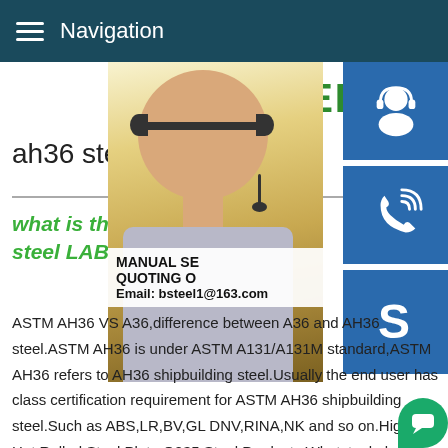Navigation
STEEL GR
ah36 steel pipe produc
[Figure (photo): Customer service representative woman with headset, with three blue icon buttons on the right (chat support, phone, Skype) and a promotional overlay text box showing 'MANUAL SE', 'QUOTING O', 'Email: bsteel1@163.com']
what is the difference betwe steel LAB
ASTM AH36 VS A36,difference between A36 and AH36 steel.ASTM AH36 is under ASTM A131/A131M standard,ASTM AH36 refers to AH36 shipbuilding steel.Usually the end user has class certification requirement for ASTM AH36 shipbuilding steel.Such as ABS,LR,BV,GL DNV,RINA,NK and so on.High q Hot Rolled Steel Plate Q235 Steel Products Whatsteel plate G